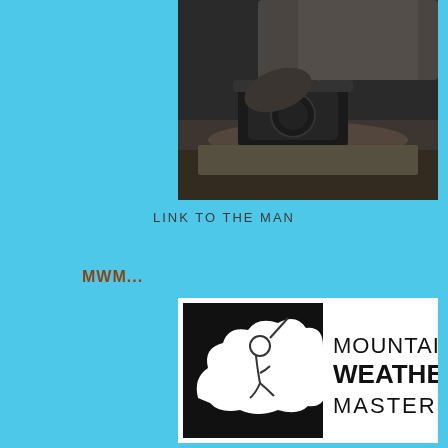[Figure (photo): Black and white vintage photograph of a person holding a telephone receiver with an old rotary telephone on a lace doily on a table]
LINK TO THE MAN
MWM...
[Figure (logo): Mountain Weather Masters logo: black square background with white cloud shape containing a figure writing, next to bold text reading MOUNTAIN WEATHER MASTERS]